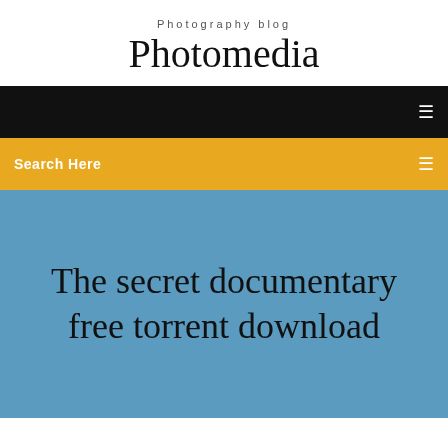Photography blog
Photomedia
[Figure (screenshot): Black navigation bar with a small white menu icon on the right]
Search Here
The secret documentary free torrent download